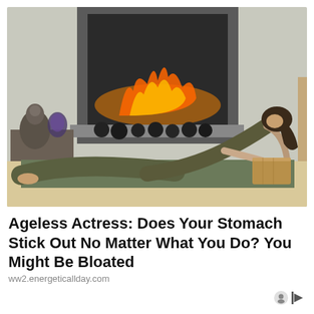[Figure (photo): Woman in olive/dark green yoga attire performing a low push-up or cobra-like yoga pose on a green yoga mat, with hands resting on a wooden yoga block. Background shows a fireplace with fire burning, decorative black spheres on the mantle, a Buddha statue, and a geode crystal on a side table. Indoor setting with concrete walls.]
Ageless Actress: Does Your Stomach Stick Out No Matter What You Do? You Might Be Bloated
ww2.energeticallday.com